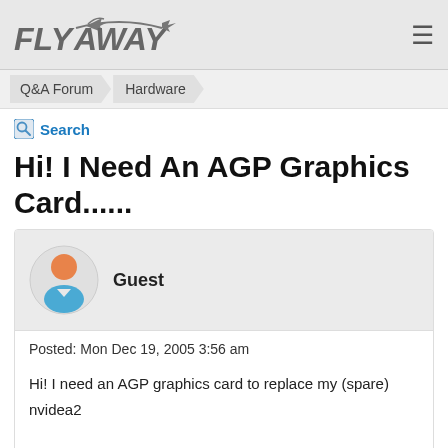FLY AWAY
Q&A Forum > Hardware
Search
Hi! I Need An AGP Graphics Card......
Guest
Posted: Mon Dec 19, 2005 3:56 am
Hi! I need an AGP graphics card to replace my (spare) nvidea2 8mb card. I have no idea what to get, exept nvidea- no ati. (Linux drivers..)

Specs: